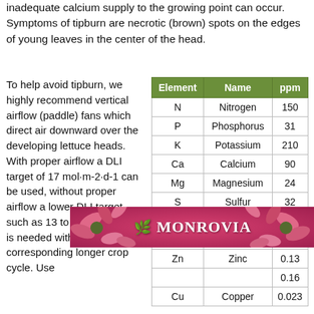inadequate calcium supply to the growing point can occur. Symptoms of tipburn are necrotic (brown) spots on the edges of young leaves in the center of the head.
To help avoid tipburn, we highly recommend vertical airflow (paddle) fans which direct air downward over the developing lettuce heads. With proper airflow a DLI target of 17 mol·m-2·d-1 can be used, without proper airflow a lower DLI target such as 13 to 14 mol·m-2·d-1 is needed with its corresponding longer crop cycle. Use
| Element | Name | ppm |
| --- | --- | --- |
| N | Nitrogen | 150 |
| P | Phosphorus | 31 |
| K | Potassium | 210 |
| Ca | Calcium | 90 |
| Mg | Magnesium | 24 |
| S | Sulfur | 32 |
| Fe | Iron | 1.0 |
| Mn | Manganese | 0.25 |
| Zn | Zinc | 0.13 |
|  |  | 0.16 |
| Cu | Copper | 0.023 |
[Figure (photo): Monrovia advertisement banner with pink flowers and logo text 'MONROVIA']